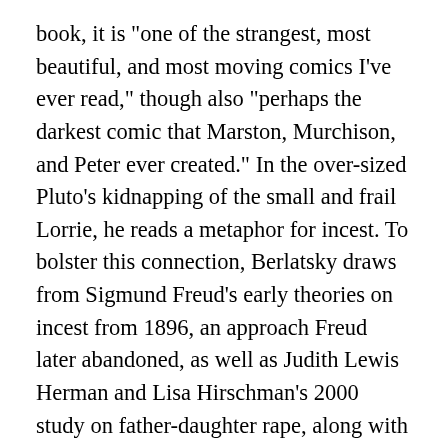book, it is "one of the strangest, most beautiful, and most moving comics I've ever read," though also "perhaps the darkest comic that Marston, Murchison, and Peter ever created." In the over-sized Pluto's kidnapping of the small and frail Lorrie, he reads a metaphor for incest. To bolster this connection, Berlatsky draws from Sigmund Freud's early theories on incest from 1896, an approach Freud later abandoned, as well as Judith Lewis Herman and Lisa Hirschman's 2000 study on father-daughter rape, along with several other, non-contemporaneous sources. He positions different characters as mother figures, sees hints at the subject matter in the background of Peter's art, including labial flowers, and discusses the issue's correlation with hysteria and castration. In the end, Berlatsky sees the comic as a sort of feminist reclamation of incest narratives, where the female characters overcome their abuser...